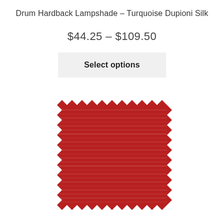Drum Hardback Lampshade – Turquoise Dupioni Silk
$44.25 – $109.50
Select options
[Figure (photo): A square fabric swatch with pinking-shear zigzag edges, showing a deep red/crimson dupioni silk texture with horizontal slub weave lines.]